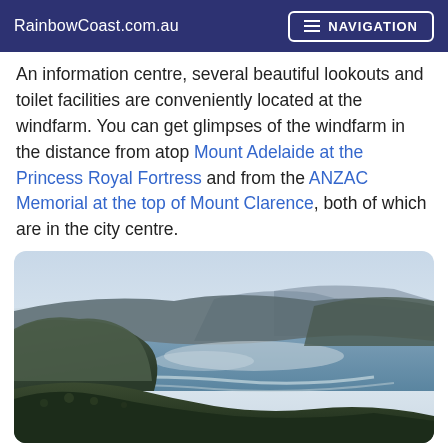RainbowCoast.com.au  NAVIGATION
An information centre, several beautiful lookouts and toilet facilities are conveniently located at the windfarm. You can get glimpses of the windfarm in the distance from atop Mount Adelaide at the Princess Royal Fortress and from the ANZAC Memorial at the top of Mount Clarence, both of which are in the city centre.
[Figure (photo): Aerial coastal landscape photograph showing rugged cliffs, ocean shoreline with waves, and green headland vegetation under a pale cloudy sky.]